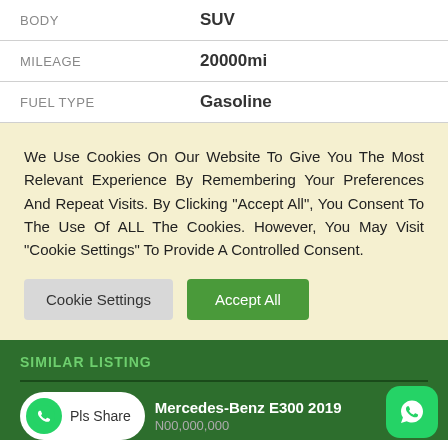|  |  |
| --- | --- |
| BODY | SUV |
| MILEAGE | 20000mi |
| FUEL TYPE | Gasoline |
We Use Cookies On Our Website To Give You The Most Relevant Experience By Remembering Your Preferences And Repeat Visits. By Clicking "Accept All", You Consent To The Use Of ALL The Cookies. However, You May Visit "Cookie Settings" To Provide A Controlled Consent.
Cookie Settings | Accept All
SIMILAR LISTING
Mercedes-Benz E300 2019